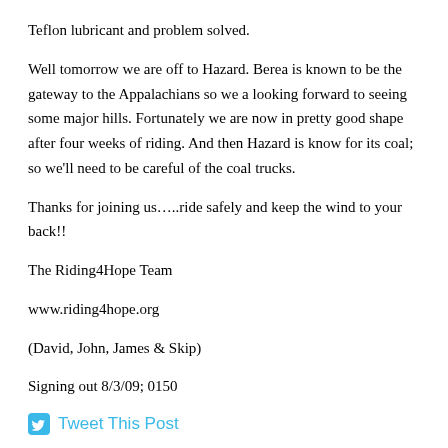Teflon lubricant and problem solved.
Well tomorrow we are off to Hazard. Berea is known to be the gateway to the Appalachians so we a looking forward to seeing some major hills. Fortunately we are now in pretty good shape after four weeks of riding. And then Hazard is know for its coal; so we’ll need to be careful of the coal trucks.
Thanks for joining us…..ride safely and keep the wind to your back!!
The Riding4Hope Team
www.riding4hope.org
(David, John, James & Skip)
Signing out 8/3/09; 0150
Tweet This Post